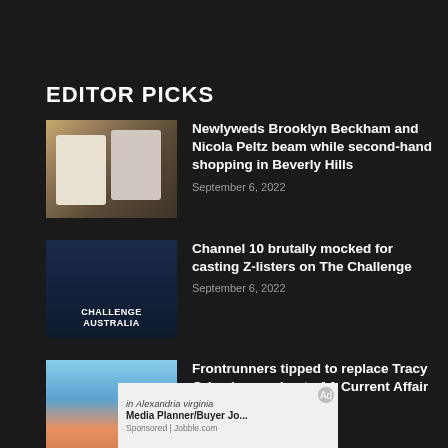EDITOR PICKS
Newlyweds Brooklyn Beckham and Nicola Peltz beam while second-hand shopping in Beverly Hills
September 6, 2022
Channel 10 brutally mocked for casting Z-listers on The Challenge
September 6, 2022
Frontrunners tipped to replace Tracy Grimshaw as host of A Current Affair after she quits
September 6, 2022
[Figure (infographic): Advertisement overlay showing a person at a desk with a laptop, text reads 'in Alexandria virginia Media Planner/Buyer Jo...' Sponsored | Jobble.com]